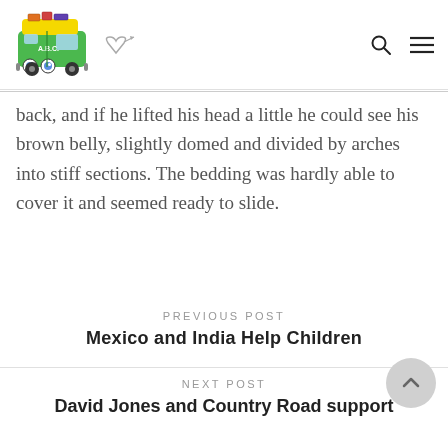[Figure (logo): A.B.C. logo featuring a colorful green VW bus with yellow roof and luggage on top, with cartoon eyes, plus a small heart with arrow doodle]
back, and if he lifted his head a little he could see his brown belly, slightly domed and divided by arches into stiff sections. The bedding was hardly able to cover it and seemed ready to slide.
PREVIOUS POST
Mexico and India Help Children
NEXT POST
David Jones and Country Road support